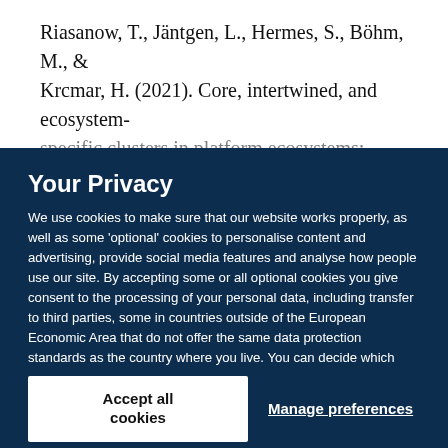Riasanow, T., Jäntgen, L., Hermes, S., Böhm, M., & Krcmar, H. (2021). Core, intertwined, and ecosystem-specific clusters in platform ecosystems: Analyzing
Your Privacy
We use cookies to make sure that our website works properly, as well as some 'optional' cookies to personalise content and advertising, provide social media features and analyse how people use our site. By accepting some or all optional cookies you give consent to the processing of your personal data, including transfer to third parties, some in countries outside of the European Economic Area that do not offer the same data protection standards as the country where you live. You can decide which optional cookies to accept by clicking on 'Manage Settings', where you can also find more information about how your personal data is processed. Further information can be found in our privacy policy.
Accept all cookies
Manage preferences